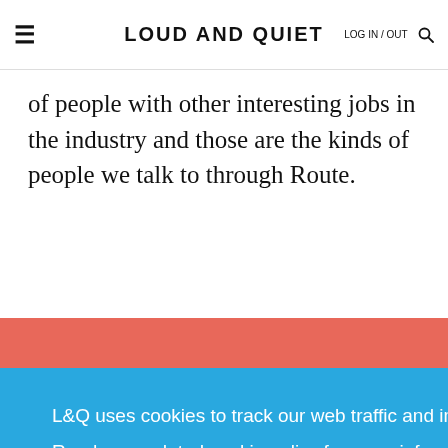≡   LOUD AND QUIET   LOG IN / OUT 🔍
of people with other interesting jobs in the industry and those are the kinds of people we talk to through Route.
L&Q uses cookies to track our web traffic and improve user experience. Read our updated cookie policy for more information.
Accept
stories and practical advice from within the music industry.